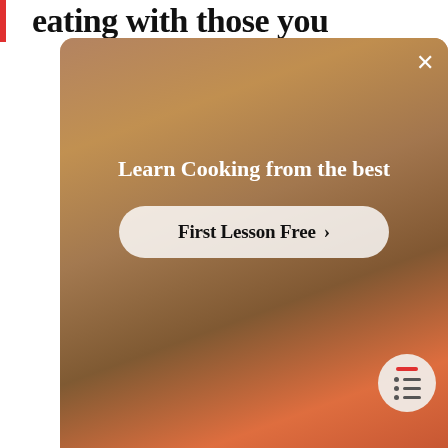eating with those you
[Figure (screenshot): Advertisement overlay modal showing a cooking class promotion with a person gesturing in a kitchen background. Contains 'Learn Cooking from the best' heading and 'First Lesson Free >' button. Has an X close button in the top right corner.]
bourguignon. That said, it was said to be the food most representative of France by the Institut Toluna. When polled, however, the French themselves chose the Blanquette de veau (veal) or steak and french fries.
However, there's one recipe that you need to know how to cook, the famous poulet basquaise (Basque chicken). In this article, we're going to look at the